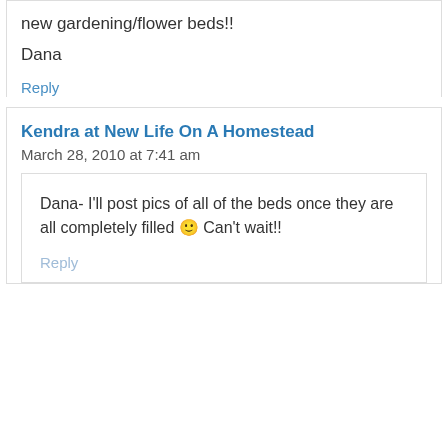new gardening/flower beds!!
Dana
Reply
Kendra at New Life On A Homestead
March 28, 2010 at 7:41 am
Dana- I'll post pics of all of the beds once they are all completely filled 🙂 Can't wait!!
Reply